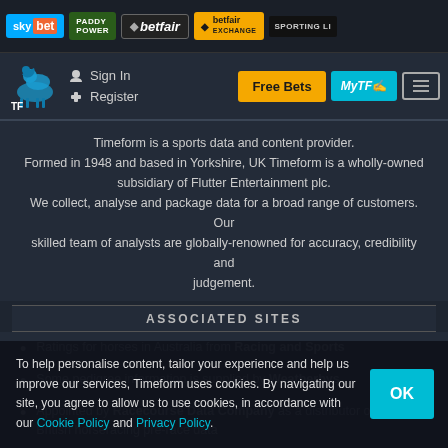sky bet | PADDYPOWER | betfair | betfair EXCHANGE | SPORTING LI...
Sign In | Register | Free Bets | MyTF | Menu
Timeform is a sports data and content provider. Formed in 1948 and based in Yorkshire, UK Timeform is a wholly-owned subsidiary of Flutter Entertainment plc. We collect, analyse and package data for a broad range of customers. Our skilled team of analysts are globally-renowned for accuracy, credibility and judgement.
ASSOCIATED SITES
Ratings for horses in Australia from Racing and Sports
Some pedigree information is supplied by Weatherbys
Appointed by Racecourse Data Company as a distributor of official British horseracing pre-race data
GENERAL
To help personalise content, tailor your experience and help us improve our services, Timeform uses cookies. By navigating our site, you agree to allow us to use cookies, in accordance with our Cookie Policy and Privacy Policy.